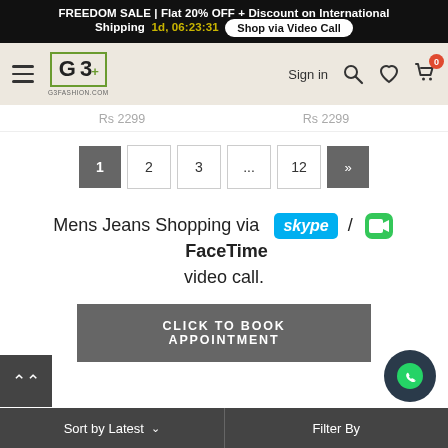FREEDOM SALE | Flat 20% OFF + Discount on International Shipping  1d, 06:23:31  Shop via Video Call
[Figure (screenshot): G3Fashion.com website navigation bar with hamburger menu, G3+ logo, Sign in, search, heart, and cart icons with badge showing 0]
Rs 2299  Rs 2299
1  2  3  ...  12  »
Mens Jeans Shopping via Skype / FaceTime video call.
CLICK TO BOOK APPOINTMENT
Sort by Latest ∨  |  Filter By